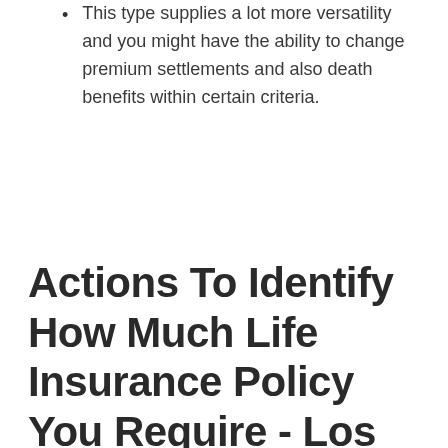This type supplies a lot more versatility and you might have the ability to change premium settlements and also death benefits within certain criteria.
Actions To Identify How Much Life Insurance Policy You Require - Los Angeles Life Insurance